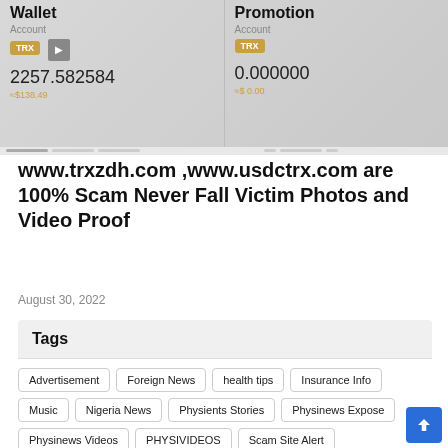[Figure (screenshot): Screenshot of a cryptocurrency app showing two wallet panels: 'Wallet' with TRX balance 2257.582584 (≈$138.49) and 'Promotion' with TRX balance 0.000000 (≈$0.00), with a play button in the center.]
www.trxzdh.com ,www.usdctrx.com are 100% Scam Never Fall Victim Photos and Video Proof
August 30, 2022
Tags
Advertisement
Foreign News
health tips
Insurance Info
Music
Nigeria News
Physients Stories
Physinews Expose
Physinews Videos
PHYSIVIDEOS
Scam Site Alert